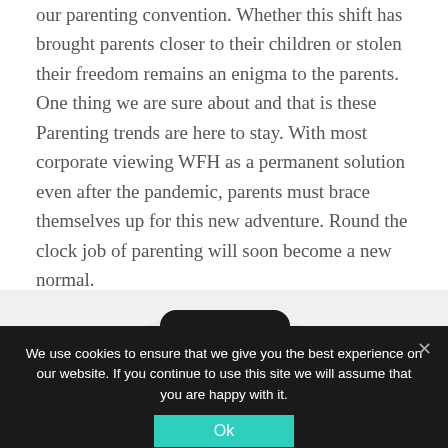our parenting convention. Whether this shift has brought parents closer to their children or stolen their freedom remains an enigma to the parents. One thing we are sure about and that is these Parenting trends are here to stay. With most corporate viewing WFH as a permanent solution even after the pandemic, parents must brace themselves up for this new adventure. Round the clock job of parenting will soon become a new normal.
[Figure (illustration): Smartphone showing incoming call from DOCTOR with a doctor image on screen, with a dark circular object partially visible to the right, set against a light grey circular background.]
We use cookies to ensure that we give you the best experience on our website. If you continue to use this site we will assume that you are happy with it.
[Figure (screenshot): Social sharing bar with icons for Twitter, Facebook, Email, WhatsApp, SMS, Pinterest, Bitly, and More options.]